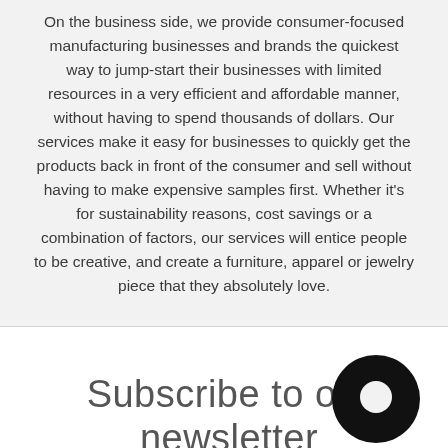On the business side, we provide consumer-focused manufacturing businesses and brands the quickest way to jump-start their businesses with limited resources in a very efficient and affordable manner, without having to spend thousands of dollars. Our services make it easy for businesses to quickly get the products back in front of the consumer and sell without having to make expensive samples first. Whether it's for sustainability reasons, cost savings or a combination of factors, our services will entice people to be creative, and create a furniture, apparel or jewelry piece that they absolutely love.
Subscribe to our newsletter
[Figure (logo): A circular chat bubble / messaging icon in black, positioned in the bottom right corner]